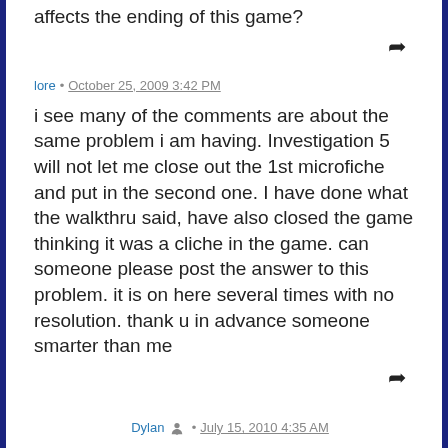affects the ending of this game?
lore • October 25, 2009 3:42 PM
i see many of the comments are about the same problem i am having. Investigation 5 will not let me close out the 1st microfiche and put in the second one. I have done what the walkthru said, have also closed the game thinking it was a cliche in the game. can someone please post the answer to this problem. it is on here several times with no resolution. thank u in advance someone smarter than me
Dylan • July 15, 2010 4:35 AM